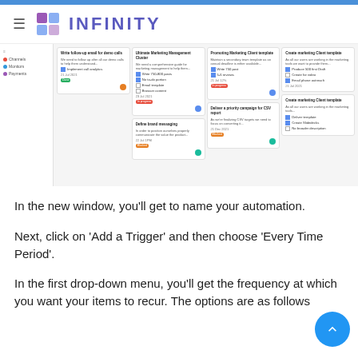INFINITY
[Figure (screenshot): Screenshot of the Infinity project management app showing a kanban board with multiple columns of cards including marketing tasks, campaigns, and client templates. A sidebar shows navigation items including Channels, Monitors, and Payments.]
In the new window, you’ll get to name your automation.
Next, click on ‘Add a Trigger’ and then choose ‘Every Time Period’.
In the first drop-down menu, you’ll get the frequency at which you want your items to recur. The options are as follows